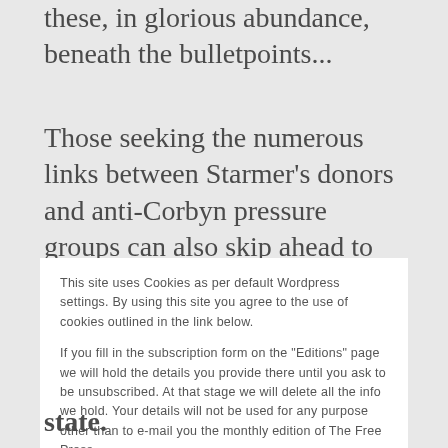these, in glorious abundance, beneath the bulletpoints...
Those seeking the numerous links between Starmer's donors and anti-Corbyn pressure groups can also skip ahead to the appropriate section!
This site uses Cookies as per default Wordpress settings. By using this site you agree to the use of cookies outlined in the link below.

If you fill in the subscription form on the "Editions" page we will hold the details you provide there until you ask to be unsubscribed. At that stage we will delete all the info we hold. Your details will not be used for any purpose other than to e-mail you the monthly edition of The Free Press.
Cookie Policy
Close and accept
state.